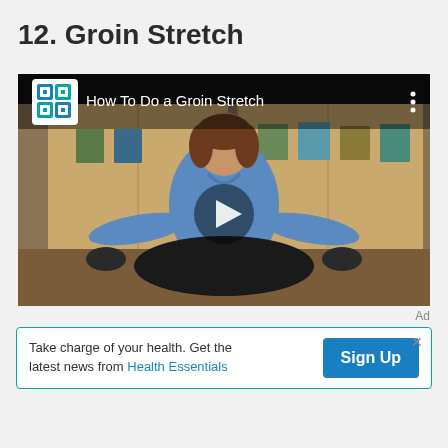12. Groin Stretch
[Figure (screenshot): Embedded video thumbnail showing a woman in a blue top performing a groin stretch exercise, with the video title overlay 'How To Do a Groin Stretch' and a Cleveland Clinic channel logo. A play button is centered on the video.]
Ad
Take charge of your health. Get the latest news from Health Essentials  Sign Up